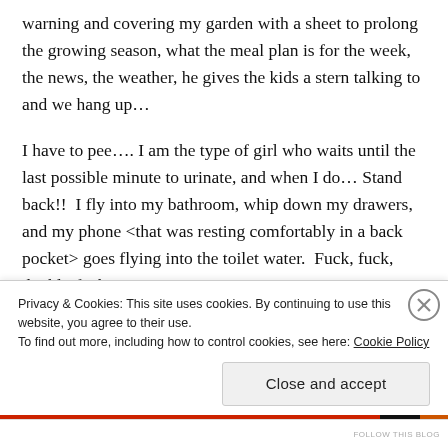warning and covering my garden with a sheet to prolong the growing season, what the meal plan is for the week, the news, the weather, he gives the kids a stern talking to and we hang up…
I have to pee…. I am the type of girl who waits until the last possible minute to urinate, and when I do… Stand back!!  I fly into my bathroom, whip down my drawers, and my phone <that was resting comfortably in a back pocket> goes flying into the toilet water.  Fuck, fuck, double-fuck!
Privacy & Cookies: This site uses cookies. By continuing to use this website, you agree to their use.
To find out more, including how to control cookies, see here: Cookie Policy
Close and accept